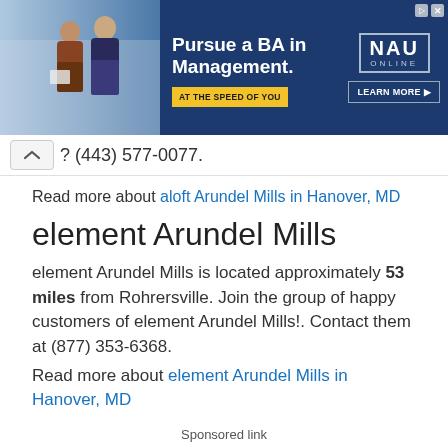[Figure (screenshot): Advertisement banner for NAU Online promoting 'Pursue a BA in Management'. Features two women in a hallway on the left, dark blue background with gold accents, NAU Online logo, 'AT THE SPEED OF YOU' tagline, and 'LEARN MORE' button.]
? (443) 577-0077.
Read more about aloft Arundel Mills in Hanover, MD
element Arundel Mills
element Arundel Mills is located approximately 53 miles from Rohrersville. Join the group of happy customers of element Arundel Mills!. Contact them at (877) 353-6368.
Read more about element Arundel Mills in Hanover, MD
Sponsored link